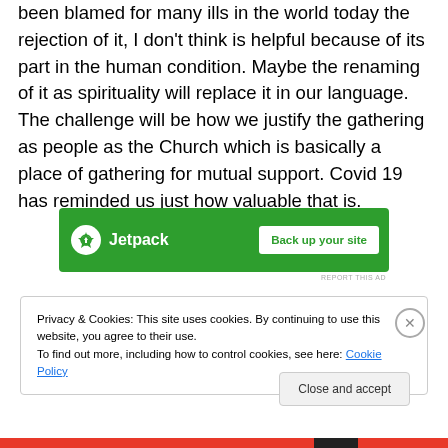been blamed for many ills in the world today the rejection of it, I don't think is helpful because of its part in the human condition. Maybe the renaming of it as spirituality will replace it in our language. The challenge will be how we justify the gathering as people as the Church which is basically a place of gathering for mutual support. Covid 19 has reminded us just how valuable that is.
[Figure (other): Jetpack advertisement banner with green background showing Jetpack logo and 'Back up your site' button]
REPORT THIS AD
Privacy & Cookies: This site uses cookies. By continuing to use this website, you agree to their use.
To find out more, including how to control cookies, see here: Cookie Policy
Close and accept